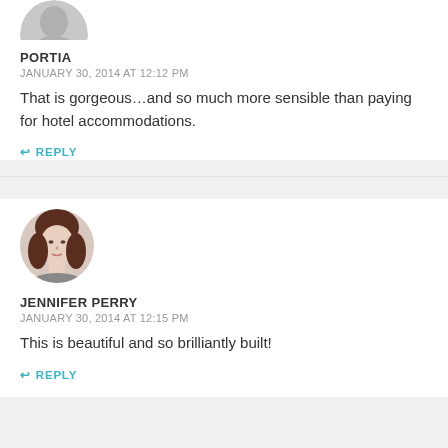[Figure (photo): Partial circular avatar image at top, grey/silhouette style, partially cut off at top of page]
PORTIA
JANUARY 30, 2014 AT 12:12 PM
That is gorgeous…and so much more sensible than paying for hotel accommodations.
↩ REPLY
[Figure (photo): Circular avatar photo of a woman with dark hair, professional appearance, black and white/desaturated style]
JENNIFER PERRY
JANUARY 30, 2014 AT 12:15 PM
This is beautiful and so brilliantly built!
↩ REPLY